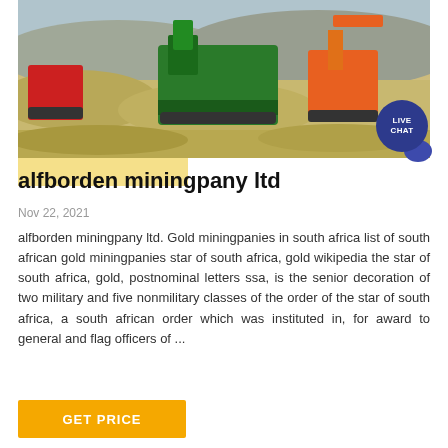[Figure (photo): Mining site with green crusher/screener machine and orange excavator, gravel/rock material piles in outdoor setting]
alfborden miningpany ltd
Nov 22, 2021
alfborden miningpany ltd. Gold miningpanies in south africa list of south african gold miningpanies star of south africa, gold wikipedia the star of south africa, gold, postnominal letters ssa, is the senior decoration of two military and five nonmilitary classes of the order of the star of south africa, a south african order which was instituted in, for award to general and flag officers of ...
GET PRICE